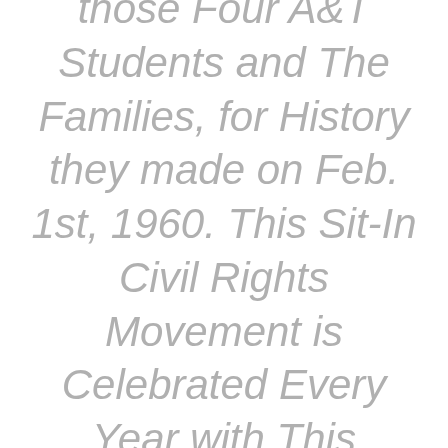those Four A&T Students and The Families, for History they made on Feb. 1st, 1960. This Sit-In Civil Rights Movement is Celebrated Every Year with This Ceremony on the Campus of North Carolina A&T State University.